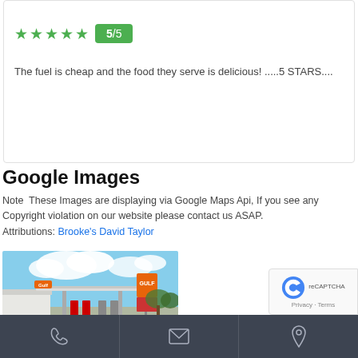a year ago
★★★★★  5/5
The fuel is cheap and the food they serve is delicious! .....5 STARS....
Google Images
Note  These Images are displaying via Google Maps Api, If you see any Copyright violation on our website please contact us ASAP. Attributions: Brooke's David Taylor
[Figure (photo): Exterior photo of a Gulf petrol/gas station with a large canopy, fuel pumps, Gulf signage and price board, blue sky with clouds in background.]
Phone | Email | Location icons